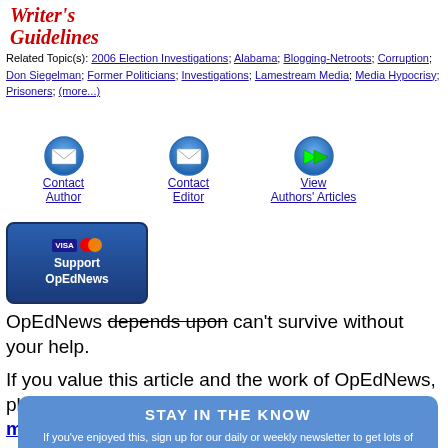[Figure (logo): Writer's Guidelines logo in red italic cursive text]
Related Topic(s): 2006 Election Investigations; Alabama; Blogging-Netroots; Corruption; Don Siegelman; Former Politicians; Investigations; Lamestream Media; Media Hypocrisy; Prisoners; (more...)
[Figure (infographic): Three icons: Contact Author (envelope), Contact Editor (envelope), View Authors' Articles (forward arrow)]
[Figure (infographic): Support OpEdNews button with Visa and Mastercard logos]
OpEdNews depends upon can't survive without your help.
If you value this article and the work of OpEdNews, please either Donate or Purchase a premium membership.
[Figure (infographic): STAY IN THE KNOW blue box: If you've enjoyed this, sign up for our daily or weekly newsletter to get lots of great progressive content.]